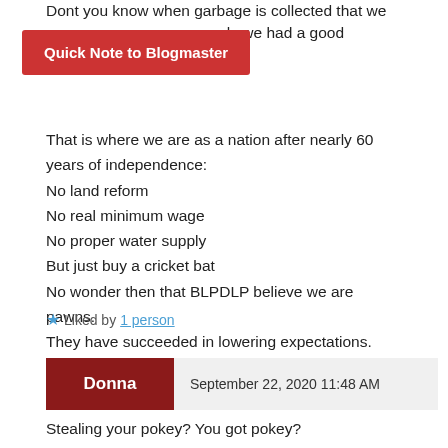Dont you know when garbage is collected that we …ome early we had a good
Quick Note to Blogmaster
That is where we are as a nation after nearly 60 years of independence:
No land reform
No real minimum wage
No proper water supply
But just buy a cricket bat
No wonder then that BLPDLP believe we are pawns.
They have succeeded in lowering expectations.
Liked by 1 person
Donna  September 22, 2020 11:48 AM
Stealing your pokey? You got pokey?